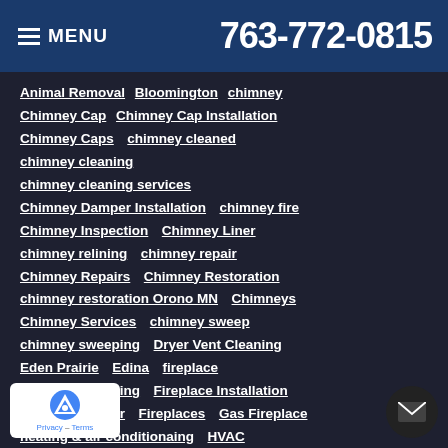MENU  763-772-0815
Animal Removal  Bloomington  chimney
Chimney Cap  Chimney Cap Installation
Chimney Caps  chimney cleaned
chimney cleaning
chimney cleaning services
Chimney Damper Installation  chimney fire
Chimney Inspection  Chimney Liner
chimney relining  chimney repair
Chimney Repairs  Chimney Restoration
chimney restoration Orono MN  Chimneys
Chimney Services  chimney sweep
chimney sweeping  Dryer Vent Cleaning
Eden Prairie  Edina  fireplace
Fireplace Cleaning  Fireplace Installation
Fireplace Repair  Fireplaces  Gas Fireplace
heating & air conditionaing  HVAC